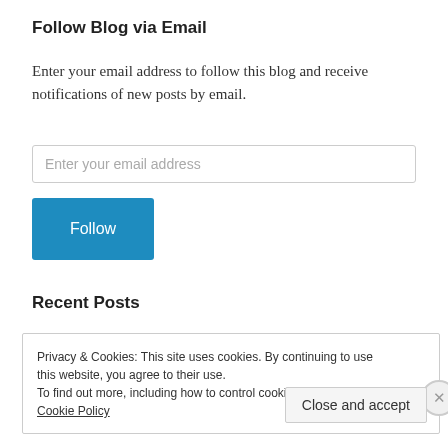Follow Blog via Email
Enter your email address to follow this blog and receive notifications of new posts by email.
Recent Posts
Privacy & Cookies: This site uses cookies. By continuing to use this website, you agree to their use.
To find out more, including how to control cookies, see here: Cookie Policy